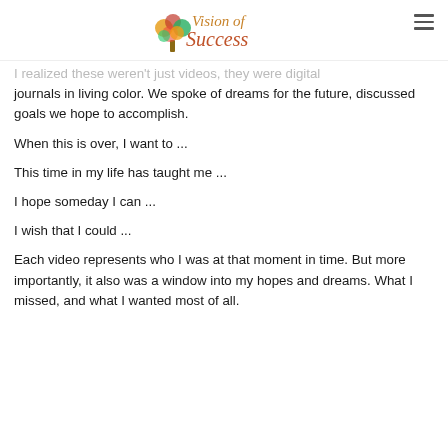Vision of Success
I realized these weren't just videos, they were digital journals in living color. We spoke of dreams for the future, discussed goals we hope to accomplish.
When this is over, I want to ...
This time in my life has taught me ...
I hope someday I can ...
I wish that I could ...
Each video represents who I was at that moment in time. But more importantly, it also was a window into my hopes and dreams. What I missed, and what I wanted most of all.